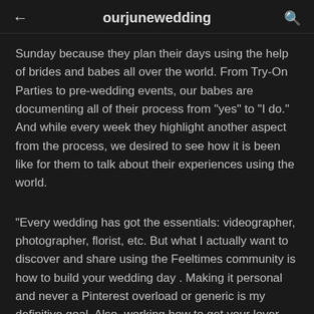ourjunewedding
Sunday because they plan their days using the help of brides and babes all over the world. From Try-On Parties to pre-wedding events, our babes are documenting all of their process from "yes" to "I do." And while every week they highlight another aspect from the process, we desired to see how it is been like for them to talk about their experiences using the world.
"Every wedding has got the essentials: videographer, photographer, florist, etc. But what I actually want to discover and share using the Feeltimes community is how to build your wedding day . Making it personal and never a Pinterest overload or generic is my definitive goal. Also, working how to get your lover excited about planning! I love how involved Steffen is and that we want to help others love this entire ride